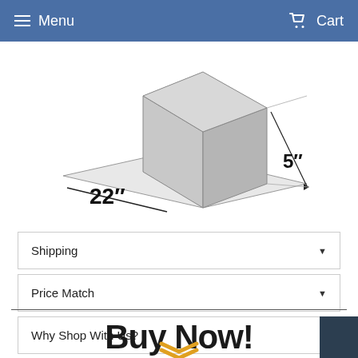Menu  Cart
[Figure (engineering-diagram): 3D box/cabinet diagram with dimension annotations showing 22 inches width and 5 inches depth]
Shipping ▾
Price Match ▾
Why Shop With Us? ▾
Buy Now!